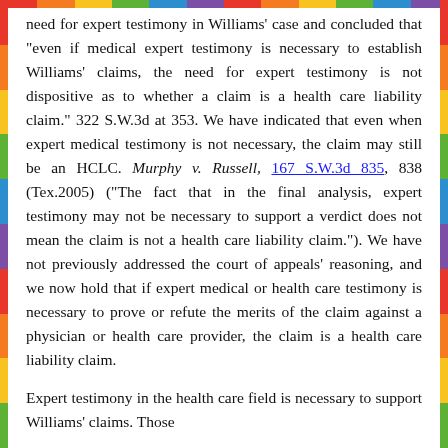need for expert testimony in Williams' case and concluded that "even if medical expert testimony is necessary to establish Williams' claims, the need for expert testimony is not dispositive as to whether a claim is a health care liability claim." 322 S.W.3d at 353. We have indicated that even when expert medical testimony is not necessary, the claim may still be an HCLC. Murphy v. Russell, 167 S.W.3d 835, 838 (Tex.2005) ("The fact that in the final analysis, expert testimony may not be necessary to support a verdict does not mean the claim is not a health care liability claim."). We have not previously addressed the court of appeals' reasoning, and we now hold that if expert medical or health care testimony is necessary to prove or refute the merits of the claim against a physician or health care provider, the claim is a health care liability claim.
Expert testimony in the health care field is necessary to support Williams' claims. Those